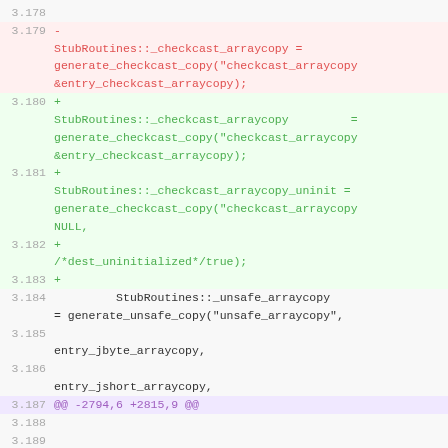Code diff showing changes to StubRoutines array copy methods, lines 3.178-3.190
[Figure (screenshot): Source code diff view showing added (green) and removed (red) lines for StubRoutines checkcast and unsafe arraycopy method assignments]